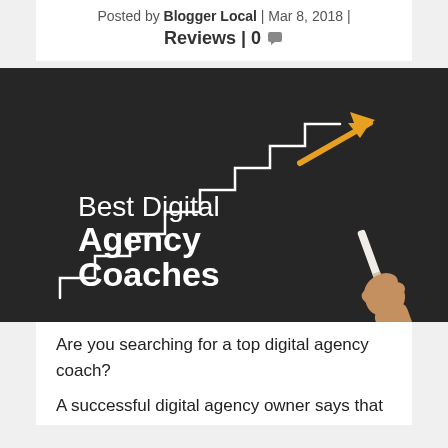Posted by Blogger Local | Mar 8, 2018 | Reviews | 0
[Figure (illustration): Dark chalkboard image with white staircase steps drawn on it, a golden arrow pointing up-right, text reading 'Best Digital Agency Coaches' in white on the left, and a hand holding chalk on the right.]
Are you searching for a top digital agency coach?
A successful digital agency owner says that...